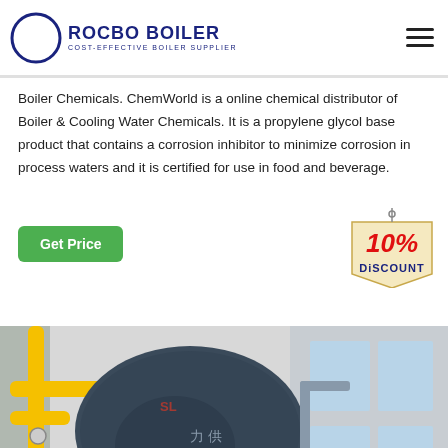ROCBO BOILER — COST-EFFECTIVE BOILER SUPPLIER
Boiler Chemicals. ChemWorld is a online chemical distributor of Boiler & Cooling Water Chemicals. It is a propylene glycol base product that contains a corrosion inhibitor to minimize corrosion in process waters and it is certified for use in food and beverage.
[Figure (illustration): Green 'Get Price' button]
[Figure (illustration): 10% DISCOUNT badge/tag graphic]
[Figure (photo): Industrial boiler room with a large dark cylindrical boiler, yellow gas pipes, red burner, and bright windowed room in the background.]